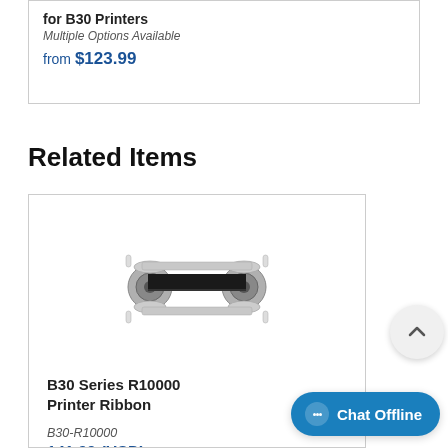for B30 Printers
Multiple Options Available
from $123.99
Related Items
[Figure (photo): B30 Series R10000 Printer Ribbon product photo — a black printer ribbon cartridge with grey plastic ends and silver rollers]
B30 Series R10000 Printer Ribbon
B30-R10000
141.99 (USD)